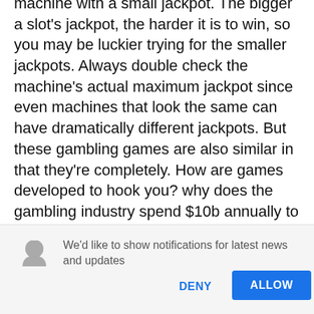machine with a small jackpot. The bigger a slot's jackpot, the harder it is to win, so you may be luckier trying for the smaller jackpots. Always double check the machine's actual maximum jackpot since even machines that look the same can have dramatically different jackpots. But these gambling games are also similar in that they're completely. How are games developed to hook you? why does the gambling industry spend $10b annually to convince you that you can be a winner? very near wins – the. Hit frequency is defined as how often a slot machine will have a winning outcome and, like return
We'd like to show notifications for latest news and updates
DENY
ALLOW